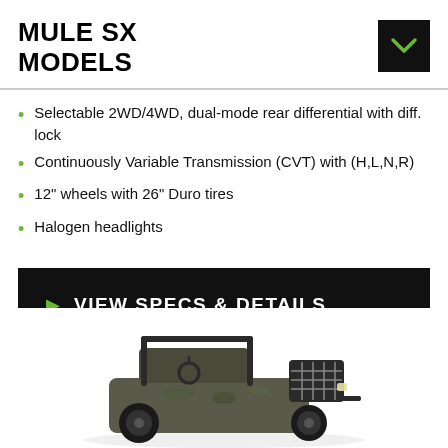MULE SX MODELS
Selectable 2WD/4WD, dual-mode rear differential with diff. lock
Continuously Variable Transmission (CVT) with (H,L,N,R)
12" wheels with 26" Duro tires
Halogen headlights
VIEW SPECS & DETAILS
[Figure (photo): Kawasaki MULE SX utility vehicle, viewed from the side/front-left, showing roll cage, front rack/grille guard, and camo-colored body on a white background]